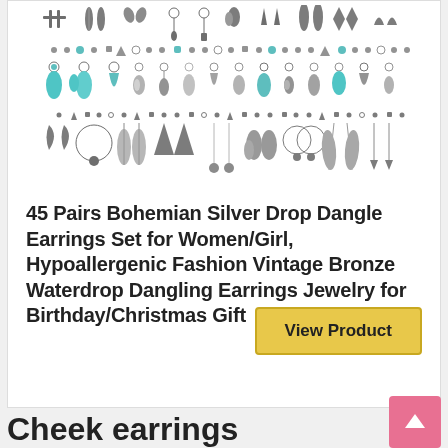[Figure (photo): Collection of 45 pairs of bohemian silver drop dangle earrings displayed in rows, including various styles with turquoise stones, feathers, hoops, and dangles]
45 Pairs Bohemian Silver Drop Dangle Earrings Set for Women/Girl, Hypoallergenic Fashion Vintage Bronze Waterdrop Dangling Earrings Jewelry for Birthday/Christmas Gift
View Product
Cheek earrings